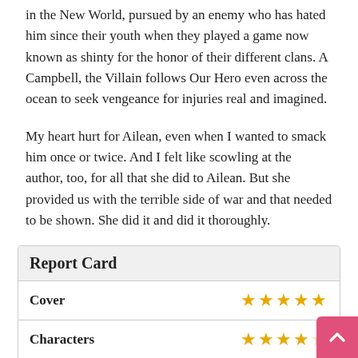in the New World, pursued by an enemy who has hated him since their youth when they played a game now known as shinty for the honor of their different clans. A Campbell, the Villain follows Our Hero even across the ocean to seek vengeance for injuries real and imagined.
My heart hurt for Ailean, even when I wanted to smack him once or twice. And I felt like scowling at the author, too, for all that she did to Ailean. But she provided us with the terrible side of war and that needed to be shown. She did it and did it thoroughly.
| Report Card |  |
| --- | --- |
| Cover | ★★★★★ |
| Characters | ★★★★☆ |
| Plot | ★★★★☆ |
| Writing | ★★★★ |